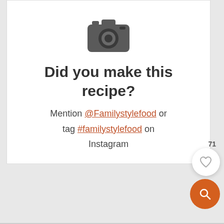[Figure (illustration): Camera icon in dark gray]
Did you make this recipe?
Mention @Familystylefood or tag #familystylefood on Instagram